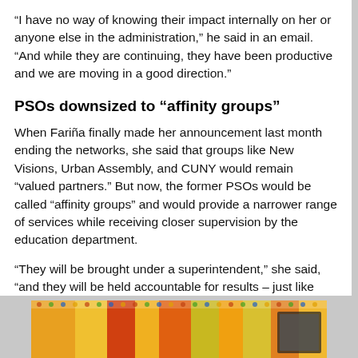“I have no way of knowing their impact internally on her or anyone else in the administration,” he said in an email. “And while they are continuing, they have been productive and we are moving in a good direction.”
PSOs downsized to “affinity groups”
When Fariña finally made her announcement last month ending the networks, she said that groups like New Visions, Urban Assembly, and CUNY would remain “valued partners.” But now, the former PSOs would be called “affinity groups” and would provide a narrower range of services while receiving closer supervision by the education department.
“They will be brought under a superintendent,” she said, “and they will be held accountable for results – just like everyone else.”
[Figure (photo): Colorful decorative image visible at the bottom of the page, partially cut off, showing bright orange, yellow, green and other colors.]